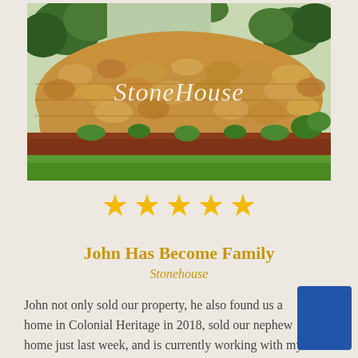[Figure (photo): Outdoor stone entrance sign reading 'StoneHouse' with rounded river rock wall, ornamental plantings, red mulch, green lawn, and trees in the background.]
[Figure (infographic): Five gold star rating icons in a horizontal row]
John Has Become Family
Stonehouse
John not only sold our property, he also found us a home in Colonial Heritage in 2018, sold our nephew home just last week, and is currently working with my